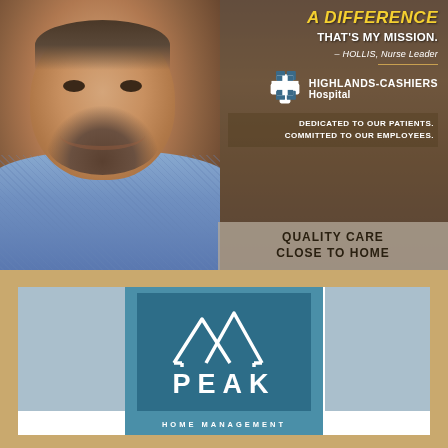[Figure (photo): Hospital advertisement showing a smiling bearded man in a blue plaid shirt. Right side has text overlay on a dark brown/wood background.]
A DIFFERENCE THAT'S MY MISSION.
– HOLLIS, Nurse Leader
[Figure (logo): Highlands-Cashiers Hospital logo with cross/plus symbol]
DEDICATED TO OUR PATIENTS. COMMITTED TO OUR EMPLOYEES.
QUALITY CARE CLOSE TO HOME
[Figure (logo): Peak Home Management logo — white mountain peaks outline above the word PEAK in white letters with HOME MANAGEMENT below, on a teal/dark blue square background, set within a lighter blue rectangular ad panel.]